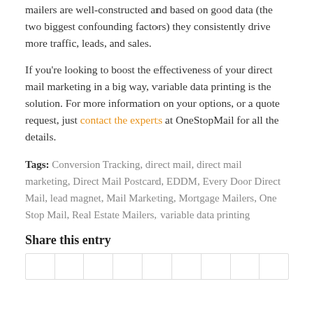mailers are well-constructed and based on good data (the two biggest confounding factors) they consistently drive more traffic, leads, and sales.
If you're looking to boost the effectiveness of your direct mail marketing in a big way, variable data printing is the solution. For more information on your options, or a quote request, just contact the experts at OneStopMail for all the details.
Tags: Conversion Tracking, direct mail, direct mail marketing, Direct Mail Postcard, EDDM, Every Door Direct Mail, lead magnet, Mail Marketing, Mortgage Mailers, One Stop Mail, Real Estate Mailers, variable data printing
Share this entry
|  |  |  |  |  |  |  |  |  |